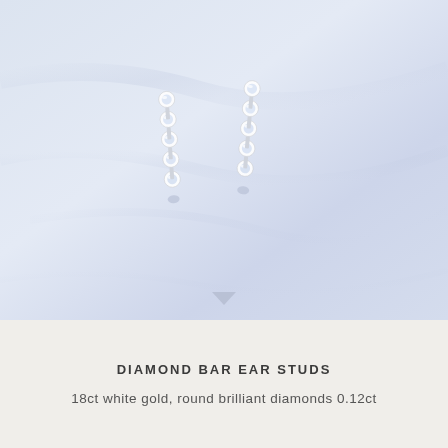[Figure (photo): Two diamond bar ear studs (pair) photographed on a pale blue-white marble surface. Each earring is a narrow vertical bar set with round brilliant diamonds in a silver/white gold setting.]
DIAMOND BAR EAR STUDS
18ct white gold, round brilliant diamonds 0.12ct